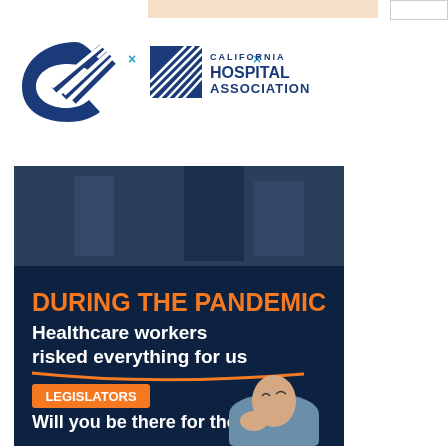[Figure (logo): CMA (California Medical Association) logo - blue stylized CM with diagonal lines]
[Figure (logo): California Hospital Association logo with text and building/columns graphic]
[Figure (illustration): Advertisement banner: dark navy background with medical worker in surgical cap. Text reads 'DURING THE PANDEMIC Healthcare workers risked everything for us' with orange underline, then 'LEGISLATORS' in orange badge, 'Will you be there for them?' in white text. California Hospital Association ad.]